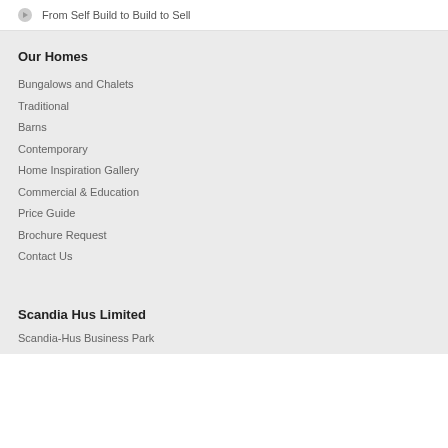From Self Build to Build to Sell
Our Homes
Bungalows and Chalets
Traditional
Barns
Contemporary
Home Inspiration Gallery
Commercial & Education
Price Guide
Brochure Request
Contact Us
Scandia Hus Limited
Scandia-Hus Business Park